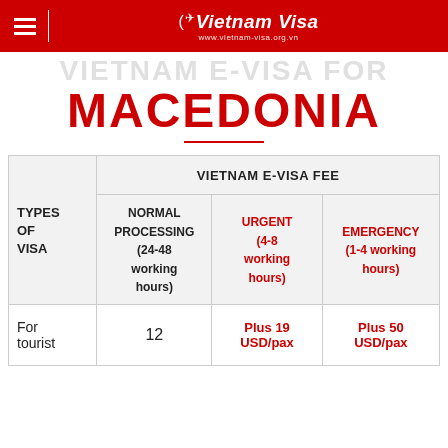Vietnam Visa | www.vietnam-visa.org.vn
VIETNAM E-VISA FOR MACEDONIA
| TYPES OF VISA | NORMAL PROCESSING (24-48 working hours) | URGENT (4-8 working hours) | EMERGENCY (1-4 working hours) |
| --- | --- | --- | --- |
| For tourist | 12 | Plus 19 USD/pax | Plus 50 USD/pax |